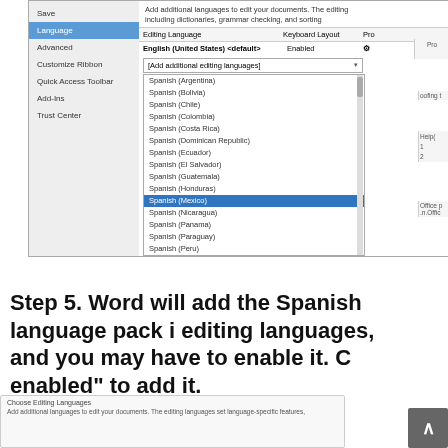[Figure (screenshot): Microsoft Word Language preferences dialog showing a dropdown list of Spanish language variants with 'Spanish (Mexico)' highlighted in blue. Left panel shows navigation items including Save, Language (selected), Advanced, Customize Ribbon, Quick Access Toolbar, Add-Ins, Trust Center. Right panel shows editing language table with English (United States) as default, and a dropdown list open showing Spanish variants.]
Step 5. Word will add the Spanish language pack i editing languages, and you may have to enable it. C enabled” to add it.
[Figure (screenshot): Choose Editing Languages dialog box partially visible at the bottom showing title and description text: Add additional languages to edit your documents. The editing languages set language-specific features,]